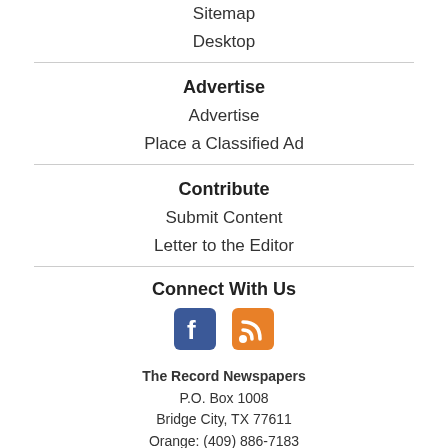Sitemap
Desktop
Advertise
Advertise
Place a Classified Ad
Contribute
Submit Content
Letter to the Editor
Connect With Us
[Figure (infographic): Facebook and RSS feed icons]
The Record Newspapers
P.O. Box 1008
Bridge City, TX 77611
Orange: (409) 886-7183
Bridge City: (409) 735-5305